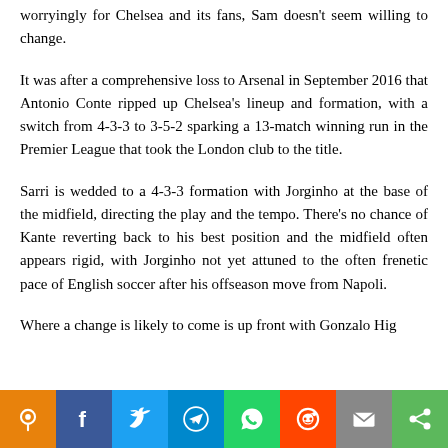worryingly for Chelsea and its fans, Sam doesn't seem willing to change.
It was after a comprehensive loss to Arsenal in September 2016 that Antonio Conte ripped up Chelsea's lineup and formation, with a switch from 4-3-3 to 3-5-2 sparking a 13-match winning run in the Premier League that took the London club to the title.
Sarri is wedded to a 4-3-3 formation with Jorginho at the base of the midfield, directing the play and the tempo. There's no chance of Kante reverting back to his best position and the midfield often appears rigid, with Jorginho not yet attuned to the often frenetic pace of English soccer after his offseason move from Napoli.
Where a change is likely to come is up front with Gonzalo Hig...
[Figure (infographic): Social media share bar with icons: orange location/news pin, Facebook (blue), Twitter (blue), Telegram (blue), WhatsApp (green), Reddit (red/orange), Email (gray), Share (green)]